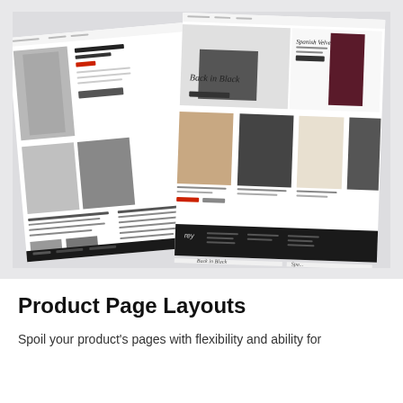[Figure (screenshot): A stylized angled/perspective view of multiple fashion e-commerce product page layouts showing clothing items (dark jumpsuit, velvet trousers, black top, wine-colored pants), navigation bars, product grids, text blocks, and a dark footer. The pages are displayed at an angle like physical cards fanned out.]
Product Page Layouts
Spoil your product's pages with flexibility and ability for